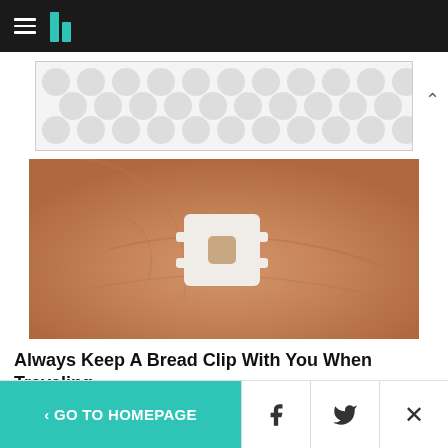HuffPost navigation logo
[Figure (illustration): Advertisement banner with grey polka dot pattern background]
[Figure (photo): A hand holding a small white plastic bread clip tag against a palm]
Always Keep A Bread Clip With You When Traveling
SoGoodly
[Figure (photo): Partial view of another article image showing golden/brown vertical striped surface]
< GO TO HOMEPAGE | Facebook share | Twitter share | Close